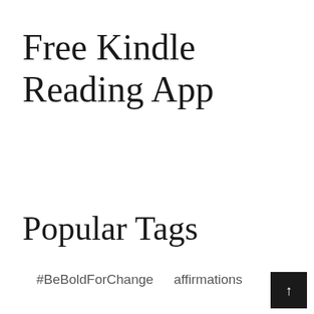Free Kindle Reading App
Popular Tags
#BeBoldForChange
affirmations